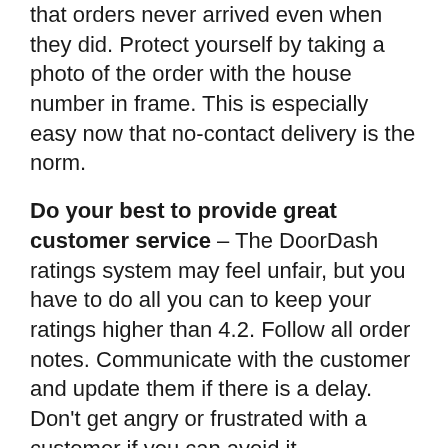that orders never arrived even when they did. Protect yourself by taking a photo of the order with the house number in frame. This is especially easy now that no-contact delivery is the norm.
Do your best to provide great customer service – The DoorDash ratings system may feel unfair, but you have to do all you can to keep your ratings higher than 4.2. Follow all order notes. Communicate with the customer and update them if there is a delay. Don't get angry or frustrated with a customer if you can avoid it.
Contact support when things goes wrong – Many technical and logistical issues can be solved by Dasher support. By